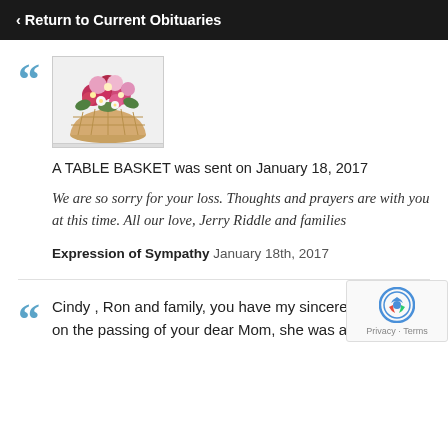‹ Return to Current Obituaries
[Figure (photo): Flower basket arrangement with pink and red flowers in a white basket]
A TABLE BASKET was sent on January 18, 2017
We are so sorry for your loss. Thoughts and prayers are with you at this time. All our love, Jerry Riddle and families
Expression of Sympathy January 18th, 2017
Cindy , Ron and family, you have my sincere sympathy on the passing of your dear Mom, she was a Special